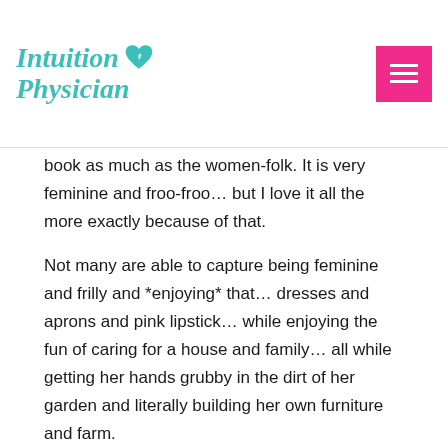Intuition Physician
book as much as the women-folk. It is very feminine and froo-froo… but I love it all the more exactly because of that.
Not many are able to capture being feminine and frilly and *enjoying* that… dresses and aprons and pink lipstick… while enjoying the fun of caring for a house and family… all while getting her hands grubby in the dirt of her garden and literally building her own furniture and farm.
She's the kind of gal that can camp out in the